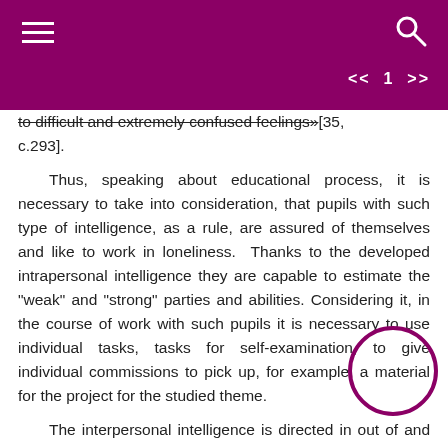≡  🔍  << 1 >>
to difficult and extremely confused feelings»[35, c.293].
Thus, speaking about educational process, it is necessary to take into consideration, that pupils with such type of intelligence, as a rule, are assured of themselves and like to work in loneliness. Thanks to the developed intrapersonal intelligence they are capable to estimate the "weak" and "strong" parties and abilities. Considering it, in the course of work with such pupils it is necessary to use individual tasks, tasks for self-examination, to give individual commissions to pick up, for example, a material for the project for the studied theme.
The interpersonal intelligence is directed in out of and promotes understanding of distinction